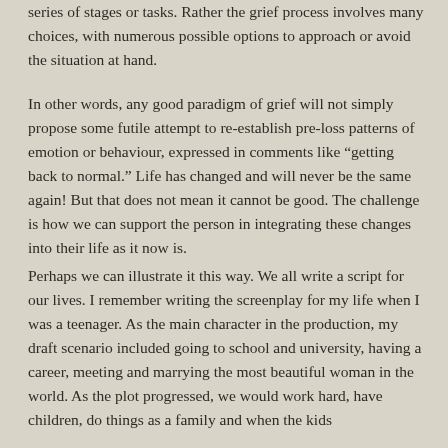series of stages or tasks. Rather the grief process involves many choices, with numerous possible options to approach or avoid the situation at hand.
In other words, any good paradigm of grief will not simply propose some futile attempt to re-establish pre-loss patterns of emotion or behaviour, expressed in comments like “getting back to normal.” Life has changed and will never be the same again! But that does not mean it cannot be good. The challenge is how we can support the person in integrating these changes into their life as it now is.
Perhaps we can illustrate it this way. We all write a script for our lives. I remember writing the screenplay for my life when I was a teenager. As the main character in the production, my draft scenario included going to school and university, having a career, meeting and marrying the most beautiful woman in the world. As the plot progressed, we would work hard, have children, do things as a family and when the kids